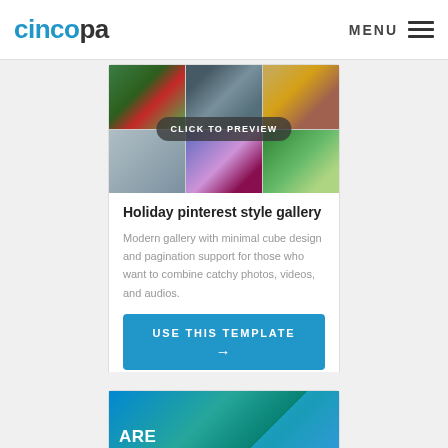cincopa | MENU
[Figure (screenshot): Holiday pinterest style gallery preview showing a grid of 6 nature photos with 'CLICK TO PREVIEW' overlay button]
Holiday pinterest style gallery
Modern gallery with minimal cube design and pagination support for those who want to combine catchy photos, videos, and audios.
USE THIS TEMPLATE →
[Figure (screenshot): Second card preview showing underwater/aerial scene with text 'ARE YOU READY']